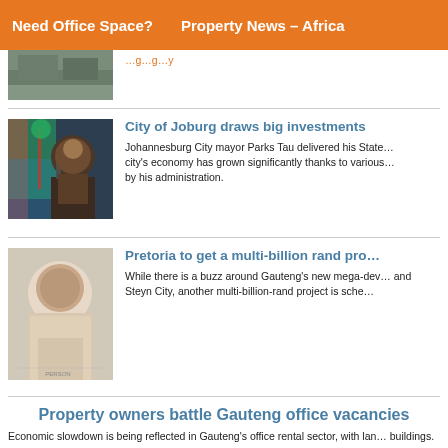Need Office Space?   Property News – Africa
[Figure (photo): Aerial or street-level photo of a building/road]
...g...g...y
[Figure (photo): Photo of Johannesburg City mayor Parks Tau speaking at a podium with South African flag]
City of Joburg draws big investments
Johannesburg City mayor Parks Tau delivered his State... city's economy has grown significantly thanks to various... by his administration.
[Figure (photo): Portrait photo of a man smiling]
Pretoria to get a multi-billion rand pro...
While there is a buzz around Gauteng's new mega-dev... and Steyn City, another multi-billion-rand project is sche...
Property owners battle Gauteng office vacancies
Economic slowdown is being reflected in Gauteng's office rental sector, with lan... buildings.
R180m to improve roads in Sandton CBD
The City of Johannesburg has set aside R180 million for the maintenance of exi... of new roads in Sandton Central - SA's cosmopolitan financial and commercial...